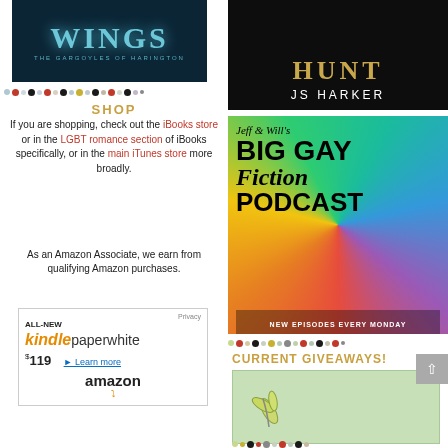[Figure (illustration): Book cover for 'Wings: The Gargoyles of Harington' with teal/blue smoky background and stylized title text]
[Figure (illustration): Book cover for 'Hunt' by JS Harker with dark background, golden title text, and author name in white]
[Figure (illustration): Colorful rainbow swirl advertisement image for 'Jeff & Will's Big Gay Fiction Podcast' with text 'New Episodes Every Monday']
SHOP
If you are shopping, check out the iBooks store or in the LGBT romance section of iBooks specifically, or in the main iTunes store more broadly.
As an Amazon Associate, we earn from qualifying Amazon purchases.
[Figure (screenshot): Amazon advertisement for ALL-NEW Kindle Paperwhite at $119 with 'Learn more' link and Amazon logo with smile]
CURRENT GIVEAWAYS!
[Figure (illustration): Giveaway image with light green background and decorative leaf/olive branch design]